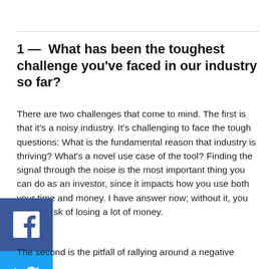1 — What has been the toughest challenge you've faced in our industry so far?
There are two challenges that come to mind. The first is that it's a noisy industry. It's challenging to face the tough questions: What is the fundamental reason that industry is thriving? What's a novel use case of the tool? Finding the signal through the noise is the most important thing you can do as an investor, since it impacts how you use both your time and money. I have answer now; without it, you run the risk of losing a lot of money.
The second is the pitfall of rallying around a negative